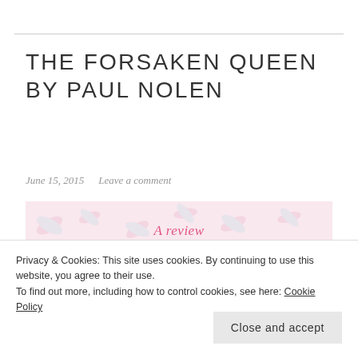THE FORSAKEN QUEEN BY PAUL NOLEN
June 15, 2015   Leave a comment
[Figure (illustration): A review banner from My Little Book Blog with a pink floral/swirl patterned background, cursive text 'A review from' and bold pink text 'MY LITTLE BOOK BLOG']
Privacy & Cookies: This site uses cookies. By continuing to use this website, you agree to their use. To find out more, including how to control cookies, see here: Cookie Policy